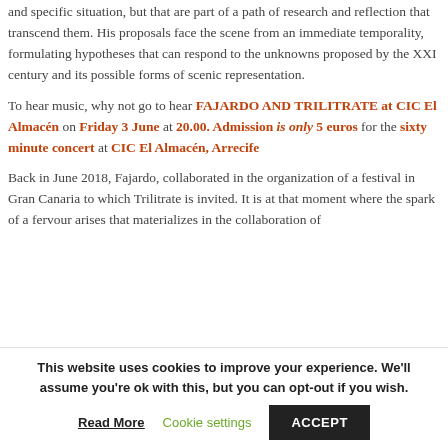and specific situation, but that are part of a path of research and reflection that transcend them. His proposals face the scene from an immediate temporality, formulating hypotheses that can respond to the unknowns proposed by the XXI century and its possible forms of scenic representation.
To hear music, why not go to hear FAJARDO AND TRILITRATE at CIC El Almacén on Friday 3 June at 20.00. Admission is only 5 euros for the sixty minute concert at CIC El Almacén, Arrecife
Back in June 2018, Fajardo, collaborated in the organization of a festival in Gran Canaria to which Trilitrate is invited. It is at that moment where the spark of a fervour arises that materializes in the collaboration of
This website uses cookies to improve your experience. We'll assume you're ok with this, but you can opt-out if you wish.
Read More | Cookie settings | ACCEPT